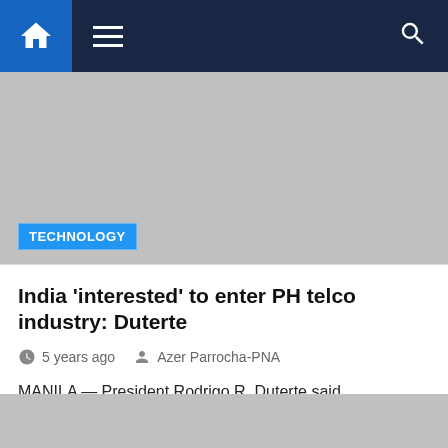Navigation bar with home, menu, and search icons
[Figure (other): Gray image placeholder with TECHNOLOGY badge]
India ‘interested’ to enter PH telco industry: Duterte
5 years ago   Azer Parrocha-PNA
MANILA — President Rodrigo R. Duterte said Tuesday night that India is “interested” to be a new major player in the Philippine telecommunications industry. “India is also interested to enter into…
[Figure (other): Gray image placeholder at bottom]